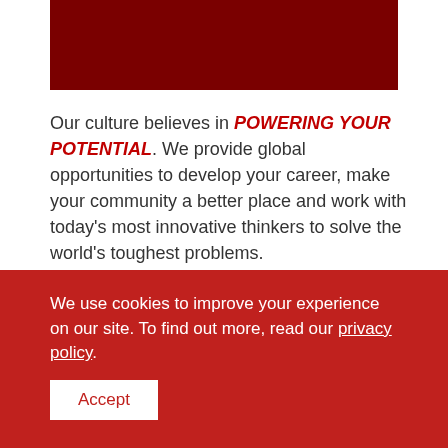[Figure (other): Dark red decorative header bar]
Our culture believes in POWERING YOUR POTENTIAL. We provide global opportunities to develop your career, make your community a better place and work with today's most innovative thinkers to solve the world's toughest problems.

We believe in flexibility for you to explore your passions while making an impact through
We use cookies to improve your experience on our site. To find out more, read our privacy policy.
Accept